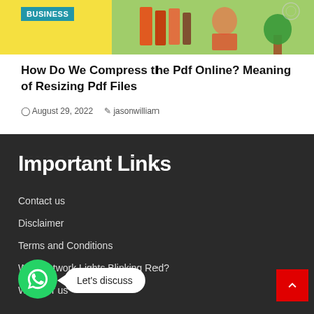[Figure (illustration): Blog article banner image with business theme, showing a colorful illustration with yellow and green background, person with books/documents. Blue 'BUSINESS' badge overlay in top-left.]
How Do We Compress the Pdf Online? Meaning of Resizing Pdf Files
August 29, 2022   jasonwilliam
Important Links
Contact us
Disclaimer
Terms and Conditions
Why Network Lights Blinking Red?
Write for us
[Figure (other): WhatsApp chat button (green circle with phone icon) with white speech bubble saying 'Let's discuss']
[Figure (other): Red scroll-to-top button with white upward chevron arrow in bottom right corner]